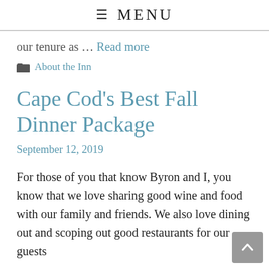≡ MENU
our tenure as … Read more
About the Inn
Cape Cod's Best Fall Dinner Package
September 12, 2019
For those of you that know Byron and I, you know that we love sharing good wine and food with our family and friends. We also love dining out and scoping out good restaurants for our guests